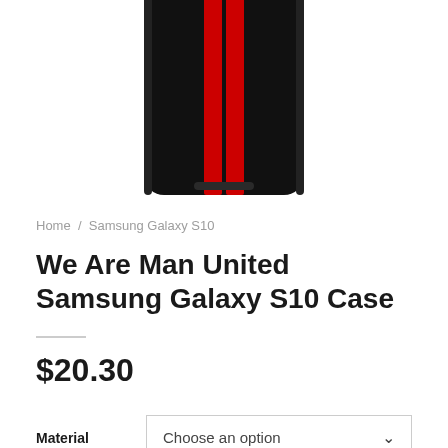[Figure (photo): A Samsung Galaxy S10 phone case with black background and red vertical racing stripes, shown from the back.]
Home / Samsung Galaxy S10
We Are Man United Samsung Galaxy S10 Case
$20.30
Material   Choose an option